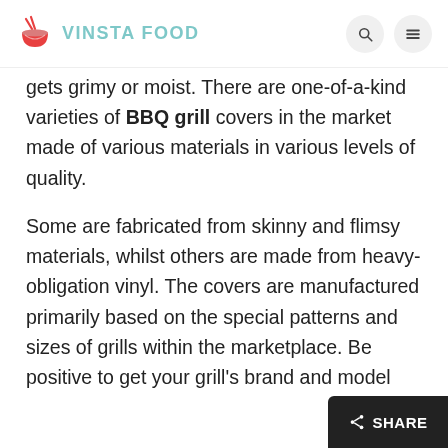VINSTA FOOD
gets grimy or moist. There are one-of-a-kind varieties of BBQ grill covers in the market made of various materials in various levels of quality.
Some are fabricated from skinny and flimsy materials, whilst others are made from heavy-obligation vinyl. The covers are manufactured primarily based on the special patterns and sizes of grills within the marketplace. Be positive to get your grill's brand and model range or degree the grill before you keep for covers.